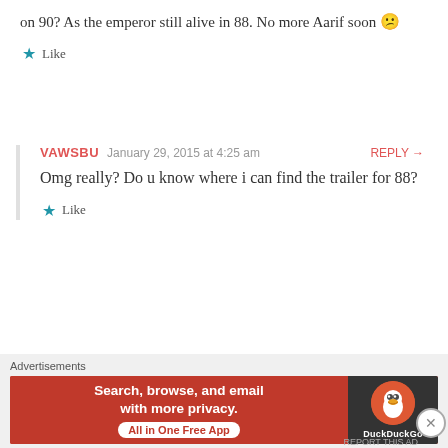on 90? As the emperor still alive in 88. No more Aarif soon 😕
★ Like
VAWSBU   January 29, 2015 at 4:25 am   REPLY →
Omg really? Do u know where i can find the trailer for 88?
★ Like
LALA   February 6, 2015 at 5:28 am   REPLY →
Advertisements
[Figure (screenshot): DuckDuckGo advertisement banner: Search, browse, and email with more privacy. All in One Free App]